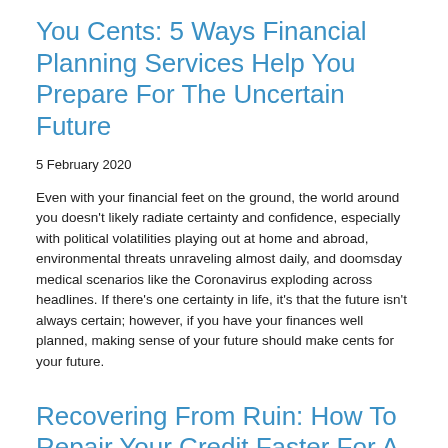You Cents: 5 Ways Financial Planning Services Help You Prepare For The Uncertain Future
5 February 2020
Even with your financial feet on the ground, the world around you doesn't likely radiate certainty and confidence, especially with political volatilities playing out at home and abroad, environmental threats unraveling almost daily, and doomsday medical scenarios like the Coronavirus exploding across headlines. If there's one certainty in life, it's that the future isn't always certain; however, if you have your finances well planned, making sense of your future should make cents for your future.
Recovering From Ruin: How To Repair Your Credit Faster For A More Secure Financial Future